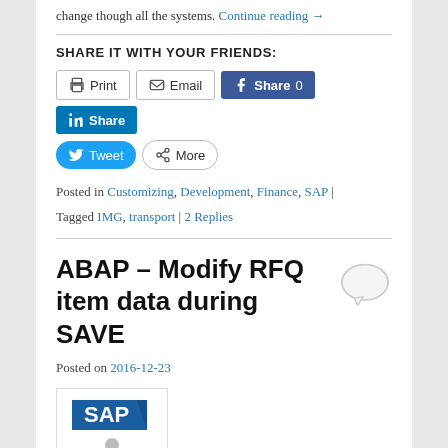change though all the systems. Continue reading →
SHARE IT WITH YOUR FRIENDS:
[Figure (other): Social sharing buttons: Print, Email, Facebook Share 0, LinkedIn Share, Twitter Tweet, More]
Posted in Customizing, Development, Finance, SAP | Tagged IMG, transport | 2 Replies
ABAP – Modify RFQ item data during SAVE
Posted on 2016-12-23
[Figure (logo): SAP logo with cartoon character holding SAP sign]